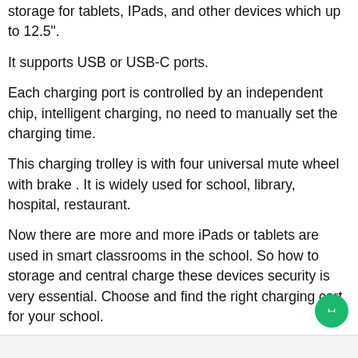storage for tablets, IPads, and other devices which up to 12.5".
It supports USB or USB-C ports.
Each charging port is controlled by an independent chip, intelligent charging, no need to manually set the charging time.
This charging trolley is with four universal mute wheel with brake . It is widely used for school, library, hospital, restaurant.
Now there are more and more iPads or tablets are used in smart classrooms in the school. So how to storage and central charge these devices security is very essential. Choose and find the right charging cart for your school.